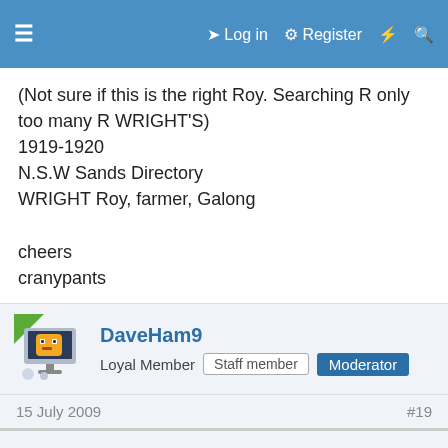≡   ➔ Log in  ⚙ Register  ⚡  🔍
(Not sure if this is the right Roy. Searching R only too many R WRIGHT'S)
1919-1920
N.S.W Sands Directory
WRIGHT Roy, farmer, Galong

cheers
cranypants
DaveHam9
Loyal Member  Staff member  Moderator
15 July 2009   #19
This site uses cookies to help personalise content, tailor your experience and to keep you logged in if you register.
By continuing to use this site, you are consenting to our use of cookies.
Accept   Learn more...